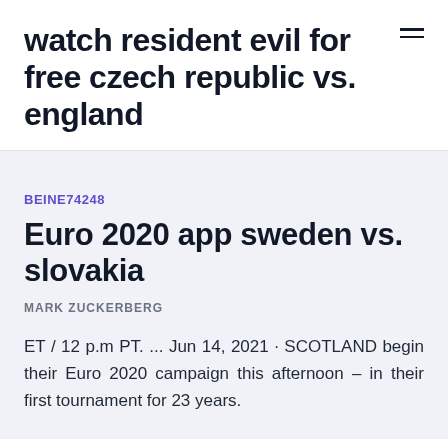watch resident evil for free czech republic vs. england
BEINE74248
Euro 2020 app sweden vs. slovakia
MARK ZUCKERBERG
ET / 12 p.m PT. ... Jun 14, 2021 · SCOTLAND begin their Euro 2020 campaign this afternoon – in their first tournament for 23 years.